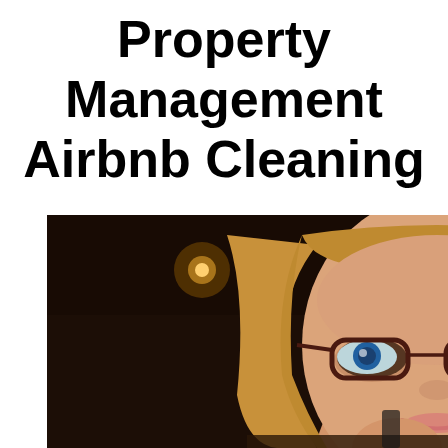Property Management Airbnb Cleaning
[Figure (photo): A young woman with long blonde hair wearing dark-framed glasses, smiling and holding her hand near her chin, photographed against a dark background with bokeh lights.]